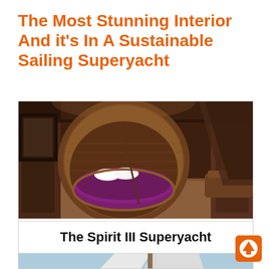The Most Stunning Interior And it’s In A Sustainable Sailing Superyacht
[Figure (photo): Luxury superyacht interior showing a round wooden pod bed with purple bedding and white pillows inside a circular wooden enclosure, with warm wood paneling throughout the cabin. Below the photo is a white caption bar reading 'The Spirit III Superyacht', and a partial exterior photo of the yacht sail against a blue sky.]
[Figure (logo): Orange square button with a white upward arrow icon in the bottom right corner.]